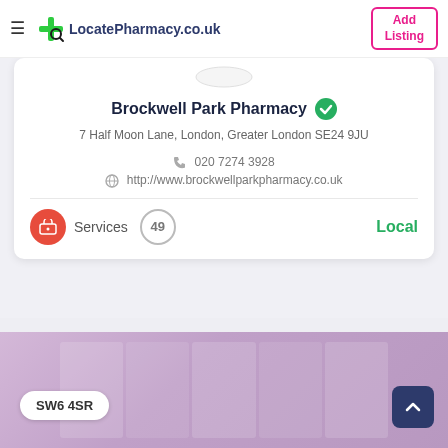LocatePharmacy.co.uk — Add Listing
Brockwell Park Pharmacy
7 Half Moon Lane, London, Greater London SE24 9JU
020 7274 3928
http://www.brockwellparkpharmacy.co.uk
Services 49 Local
SW6 4SR